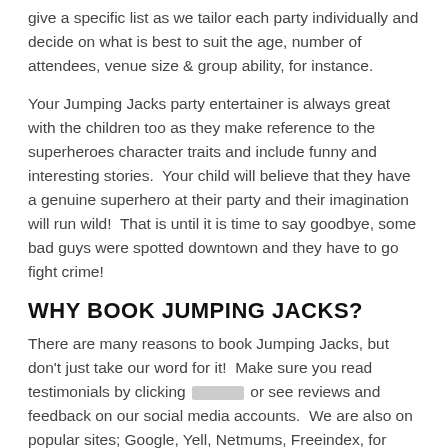give a specific list as we tailor each party individually and decide on what is best to suit the age, number of attendees, venue size & group ability, for instance.
Your Jumping Jacks party entertainer is always great with the children too as they make reference to the superheroes character traits and include funny and interesting stories.  Your child will believe that they have a genuine superhero at their party and their imagination will run wild!  That is until it is time to say goodbye, some bad guys were spotted downtown and they have to go fight crime!
WHY BOOK JUMPING JACKS?
There are many reasons to book Jumping Jacks, but don't just take our word for it!  Make sure you read testimonials by clicking [link] or see reviews and feedback on our social media accounts.  We are also on popular sites; Google, Yell, Netmums, Freeindex, for